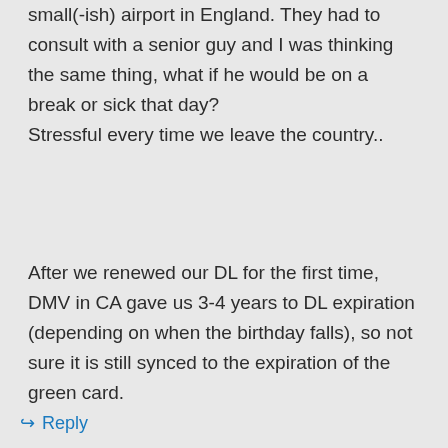small(-ish) airport in England. They had to consult with a senior guy and I was thinking the same thing, what if he would be on a break or sick that day?
Stressful every time we leave the country..
After we renewed our DL for the first time, DMV in CA gave us 3-4 years to DL expiration (depending on when the birthday falls), so not sure it is still synced to the expiration of the green card.
↳ Reply